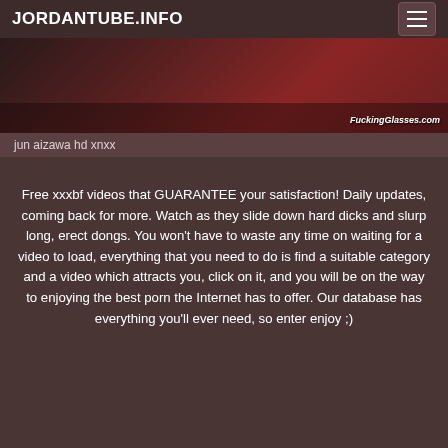JORDANTUBE.INFO
[Figure (photo): Partial video thumbnail with dark red/brown tones and watermark 'FuckingGlasses.com']
jun aizawa hd xnxx
Free xxxbf videos that GUARANTEE your satisfaction! Daily updates, coming back for more. Watch as they slide down hard dicks and slurp long, erect dongs. You won't have to waste any time on waiting for a video to load, everything that you need to do is find a suitable category and a video which attracts you, click on it, and you will be on the way to enjoying the best porn the Internet has to offer. Our database has everything you'll ever need, so enter enjoy ;)